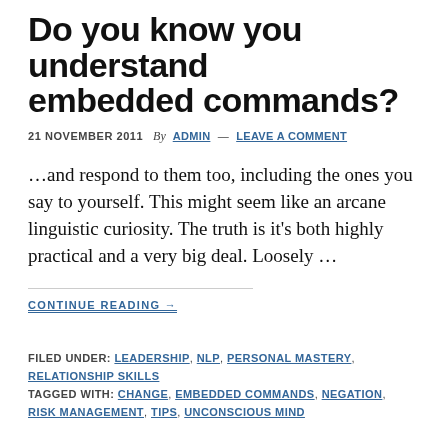Do you know you understand embedded commands?
21 NOVEMBER 2011  By  ADMIN  —  LEAVE A COMMENT
...and respond to them too, including the ones you say to yourself. This might seem like an arcane linguistic curiosity. The truth is it's both highly practical and a very big deal. Loosely …
CONTINUE READING →
FILED UNDER: LEADERSHIP, NLP, PERSONAL MASTERY, RELATIONSHIP SKILLS
TAGGED WITH: CHANGE, EMBEDDED COMMANDS, NEGATION, RISK MANAGEMENT, TIPS, UNCONSCIOUS MIND